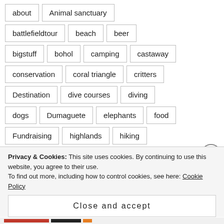about
Animal sanctuary
battlefieldtour
beach
beer
bigstuff
bohol
camping
castaway
conservation
coral triangle
critters
Destination
dive courses
diving
dogs
Dumaguete
elephants
food
Fundraising
highlands
hiking
history
Indonesia
jungle
kayaking
Privacy & Cookies: This site uses cookies. By continuing to use this website, you agree to their use. To find out more, including how to control cookies, see here: Cookie Policy
Close and accept